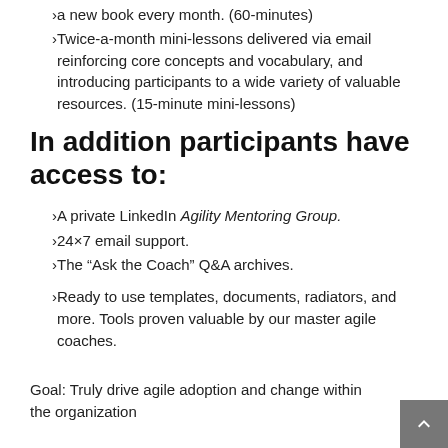a new book every month. (60-minutes)
Twice-a-month mini-lessons delivered via email reinforcing core concepts and vocabulary, and introducing participants to a wide variety of valuable resources. (15-minute mini-lessons)
In addition participants have access to:
A private LinkedIn Agility Mentoring Group.
24×7 email support.
The “Ask the Coach” Q&A archives.
Ready to use templates, documents, radiators, and more. Tools proven valuable by our master agile coaches.
Goal: Truly drive agile adoption and change within the organization